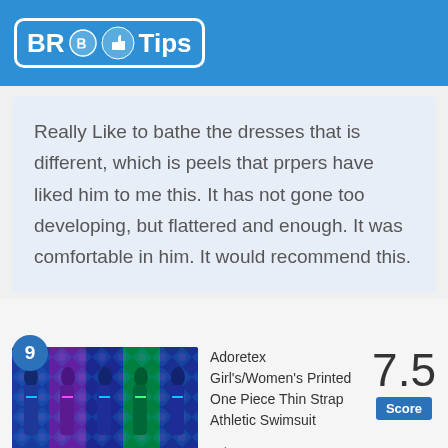BR Tips
Really Like to bathe the dresses that is different, which is peels that prpers have liked him to me this. It has not gone too developing, but flattered and enough. It was comfortable in him. It would recommend this.
9
[Figure (photo): Adoretex women's printed athletic swimsuits in various colorful patterns displayed together]
Adoretex Girl's/Women's Printed One Piece Thin Strap Athletic Swimsuit
7.5 Score
Adoretex